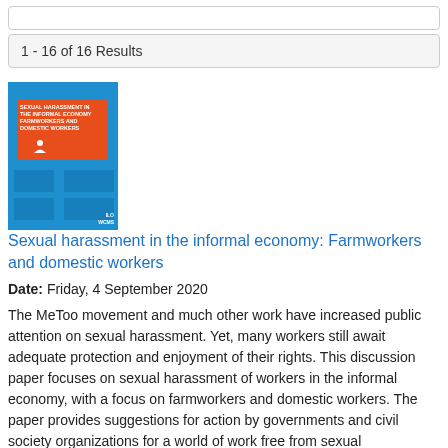1 - 16 of 16 Results
[Figure (illustration): Book cover for 'Sexual harassment in the informal economy: Farmworkers and domestic workers' — blue background with orange central block, ILO logo at bottom right]
Sexual harassment in the informal economy: Farmworkers and domestic workers
Date: Friday, 4 September 2020
The MeToo movement and much other work have increased public attention on sexual harassment. Yet, many workers still await adequate protection and enjoyment of their rights. This discussion paper focuses on sexual harassment of workers in the informal economy, with a focus on farmworkers and domestic workers. The paper provides suggestions for action by governments and civil society organizations for a world of work free from sexual harassment.